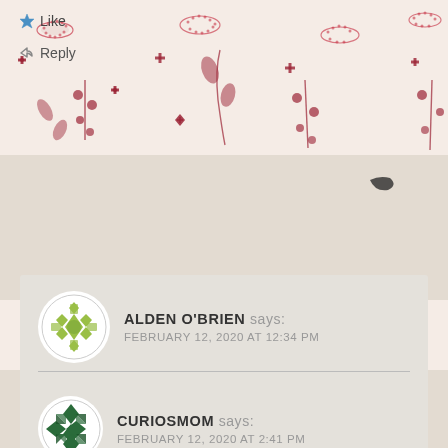[Figure (illustration): Decorative floral wallpaper background with red/crimson birds and botanical patterns on cream/beige background]
★ Like
↪ Reply
ALDEN O'BRIEN says: FEBRUARY 12, 2020 AT 12:34 PM
Thanks and you're welcome! Indeed Austen was not a terribly uncommon name.
★ Like
↪ Reply
CURIOSMOM says: FEBRUARY 12, 2020 AT 2:41 PM